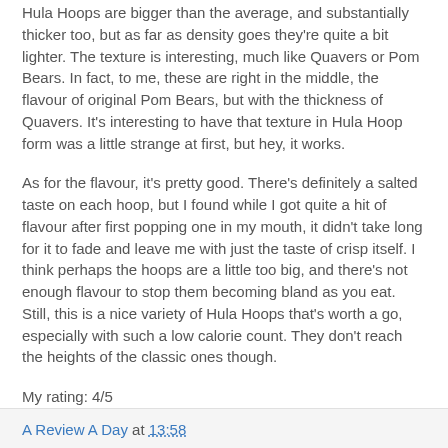Hula Hoops are bigger than the average, and substantially thicker too, but as far as density goes they're quite a bit lighter. The texture is interesting, much like Quavers or Pom Bears. In fact, to me, these are right in the middle, the flavour of original Pom Bears, but with the thickness of Quavers. It's interesting to have that texture in Hula Hoop form was a little strange at first, but hey, it works.
As for the flavour, it's pretty good. There's definitely a salted taste on each hoop, but I found while I got quite a hit of flavour after first popping one in my mouth, it didn't take long for it to fade and leave me with just the taste of crisp itself. I think perhaps the hoops are a little too big, and there's not enough flavour to stop them becoming bland as you eat. Still, this is a nice variety of Hula Hoops that's worth a go, especially with such a low calorie count. They don't reach the heights of the classic ones though.
My rating: 4/5
A Review A Day at 13:58